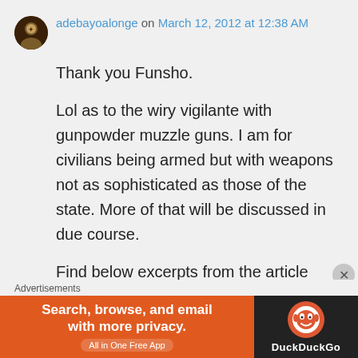adebayoalonge on March 12, 2012 at 12:38 AM
Thank you Funsho.
Lol as to the wiry vigilante with gunpowder muzzle guns. I am for civilians being armed but with weapons not as sophisticated as those of the state. More of that will be discussed in due course.
Find below excerpts from the article Beyond the 9/11 Influence
Advertisements
[Figure (screenshot): DuckDuckGo advertisement banner: orange background with text 'Search, browse, and email with more privacy. All in One Free App' and DuckDuckGo logo on dark right panel.]